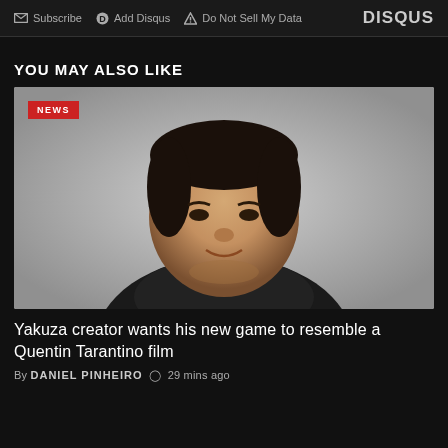Subscribe  Add Disqus  Do Not Sell My Data   DISQUS
YOU MAY ALSO LIKE
[Figure (photo): Headshot of a man in a black jacket/scarf against a grey background, with a red NEWS badge overlay in the top-left corner]
Yakuza creator wants his new game to resemble a Quentin Tarantino film
By DANIEL PINHEIRO  29 mins ago